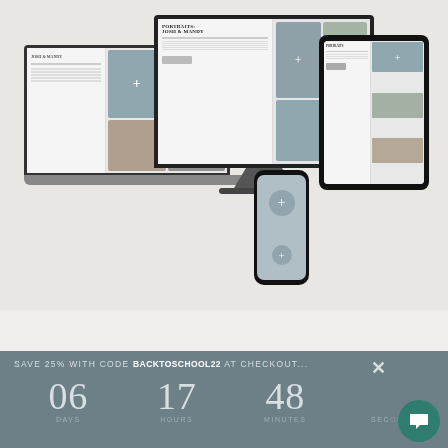[Figure (screenshot): Product mockup showing a photography website template displayed across multiple devices: laptop, desktop monitor, smartphone, and tablet. The screens show a wedding/portrait photography website with images and layout placeholders marked with plus signs.]
SAVE 25% WITH CODE BACKTOSCHOOL22 AT CHECKOUT...
06 DAYS   17 HOURS   48 MINUTES   SEC...S